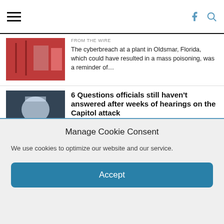Navigation bar with hamburger menu, Facebook icon, and search icon
FROM THE WIRE
The cyberbreach at a plant in Oldsmar, Florida, which could have resulted in a mass poisoning, was a reminder of…
6 Questions officials still haven't answered after weeks of hearings on the Capitol attack
FROM THE WIRE
More than 15 hours of testimony failed to answer fundamental questions about the Capitol attack. Among them: Why national security…
After a wave of violent threats against election workers, Georgia sees few
Manage Cookie Consent
We use cookies to optimize our website and our service.
Accept